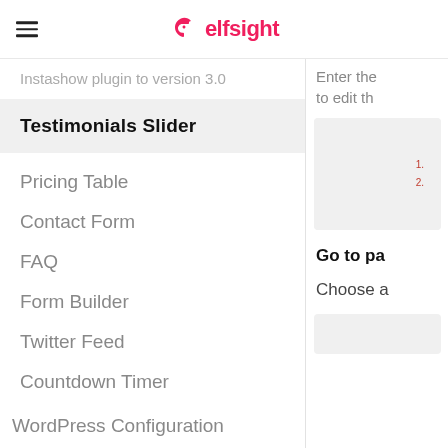elfsight
Instashow plugin to version 3.0
Testimonials Slider
Pricing Table
Contact Form
FAQ
Form Builder
Twitter Feed
Countdown Timer
WordPress Configuration
Enter the to edit th
[Figure (screenshot): Screenshot of numbered list items 1. and 2. in red text on grey background]
Go to pa
Choose a